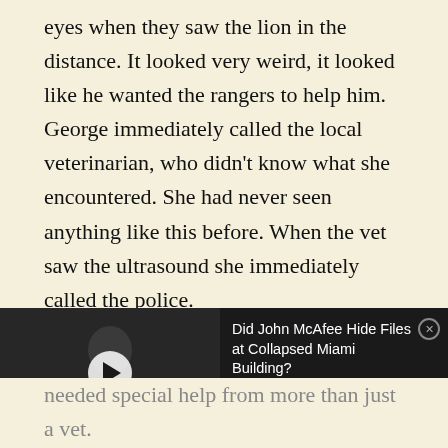eyes when they saw the lion in the distance. It looked very weird, it looked like he wanted the rangers to help him. George immediately called the local veterinarian, who didn't know what she encountered. She had never seen anything like this before. When the vet saw the ultrasound she immediately called the police.
But what was wrong with the Lion? And what did
[Figure (screenshot): Video overlay ad showing a man seated on stage with a play button, and text reading 'Did John McAfee Hide Files at Collapsed Miami Building?' with a close button.]
needed special help from more than just a vet. This lion needed surgery, as there was obviously